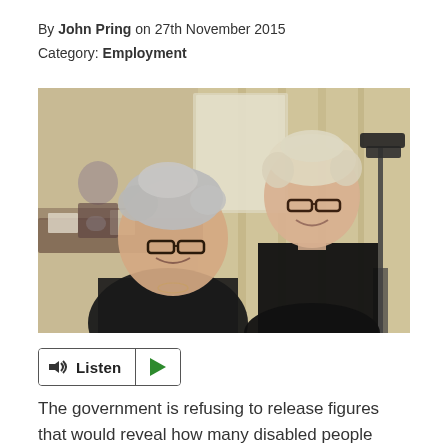By John Pring on 27th November 2015
Category: Employment
[Figure (photo): Two women standing together smiling in a conference room setting. One has short grey hair and glasses, the other has short blonde hair and glasses, wearing a black top. Background shows curtains, a conference table with a seated person, and camera equipment on the right.]
Listen (audio player button)
The government is refusing to release figures that would reveal how many disabled people have had their packages of employment support cut after being